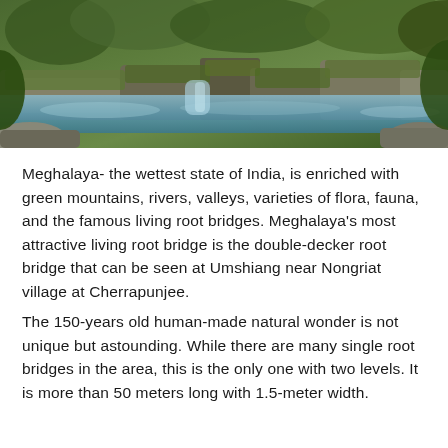[Figure (photo): A natural scenic landscape showing a rocky stream or river with still water reflecting the surroundings, lush green moss-covered rocks and stones, trees and vegetation in the background, suggesting a forest or jungle setting typical of Meghalaya.]
Meghalaya- the wettest state of India, is enriched with green mountains, rivers, valleys, varieties of flora, fauna, and the famous living root bridges. Meghalaya’s most attractive living root bridge is the double-decker root bridge that can be seen at Umshiang near Nongriat village at Cherrapunjee.
The 150-years old human-made natural wonder is not unique but astounding. While there are many single root bridges in the area, this is the only one with two levels. It is more than 50 meters long with 1.5-meter width.